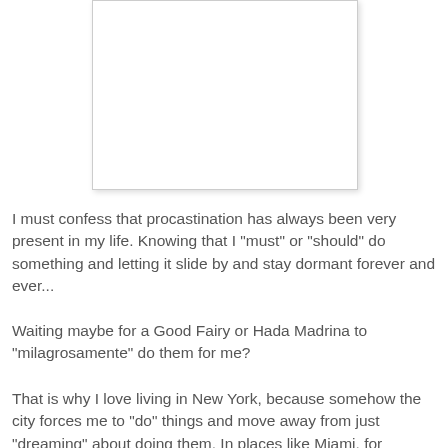[Figure (other): White rectangular image placeholder with light border and shadow]
I must confess that procastination has always been very present in my life. Knowing that I "must" or "should" do something and letting it slide by and stay dormant forever and ever...
Waiting maybe for a Good Fairy or Hada Madrina to "milagrosamente" do them for me?
That is why I love living in New York, because somehow the city forces me to "do" things and move away from just "dreaming" about doing them. In places like Miami, for